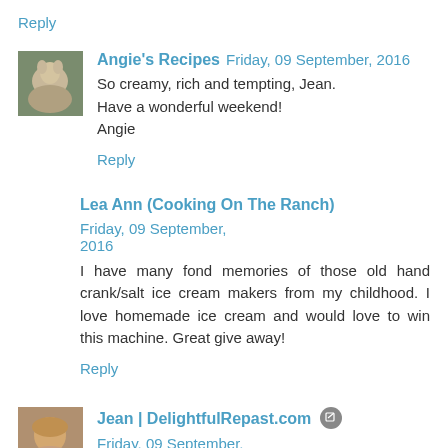Reply
Angie's Recipes  Friday, 09 September, 2016
So creamy, rich and tempting, Jean.
Have a wonderful weekend!
Angie
Reply
Lea Ann (Cooking On The Ranch)  Friday, 09 September, 2016
I have many fond memories of those old hand crank/salt ice cream makers from my childhood. I love homemade ice cream and would love to win this machine. Great give away!
Reply
Jean | DelightfulRepast.com  Friday, 09 September, 2016